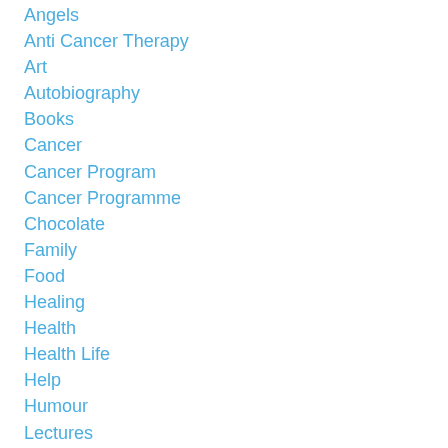Angels
Anti Cancer Therapy
Art
Autobiography
Books
Cancer
Cancer Program
Cancer Programme
Chocolate
Family
Food
Healing
Health
Health Life
Help
Humour
Lectures
Life
Love
Medicine
Psychic